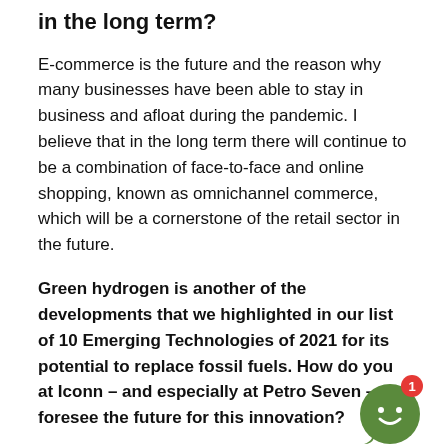in the long term?
E-commerce is the future and the reason why many businesses have been able to stay in business and afloat during the pandemic. I believe that in the long term there will continue to be a combination of face-to-face and online shopping, known as omnichannel commerce, which will be a cornerstone of the retail sector in the future.
Green hydrogen is another of the developments that we highlighted in our list of 10 Emerging Technologies of 2021 for its potential to replace fossil fuels. How do you at Iconn – and especially at Petro Seven – foresee the future for this innovation?
We are exploring the future of this market. Our current government is still very much focused on refining. At Iconn, we have to adapt to these possibilities. Although researching green hydrogen and other sustainable fuels is on our roadmap, in the short term, the most likely is to